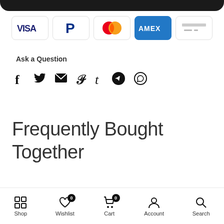[Figure (screenshot): Top dark rounded bar (app header)]
[Figure (infographic): Payment method icons: VISA, PayPal, Mastercard, AMEX, generic card]
Ask a Question
[Figure (infographic): Social sharing icons: Facebook, Twitter, Email, Pinterest, Tumblr, Telegram, WhatsApp]
Frequently Bought Together
Save money buying these products together
[Figure (screenshot): Bottom navigation bar with Shop, Wishlist (badge 0), Cart (badge 0), Account, Search icons]